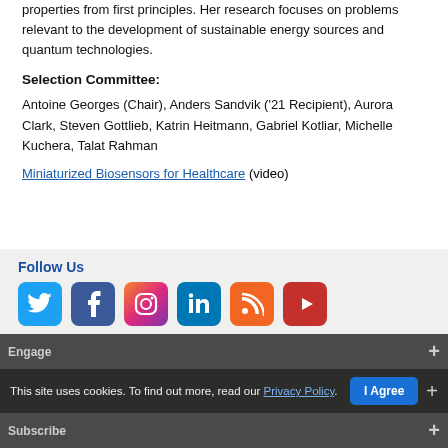properties from first principles. Her research focuses on problems relevant to the development of sustainable energy sources and quantum technologies.
Selection Committee:
Antoine Georges (Chair), Anders Sandvik ('21 Recipient), Aurora Clark, Steven Gottlieb, Katrin Heitmann, Gabriel Kotliar, Michelle Kuchera, Talat Rahman
Miniaturized Biosensors for Healthcare (video)
Follow Us
[Figure (infographic): Social media icons: Twitter, Facebook, Instagram, LinkedIn, RSS, YouTube]
Engage
This site uses cookies. To find out more, read our Privacy Policy.
I Agree
Subscribe